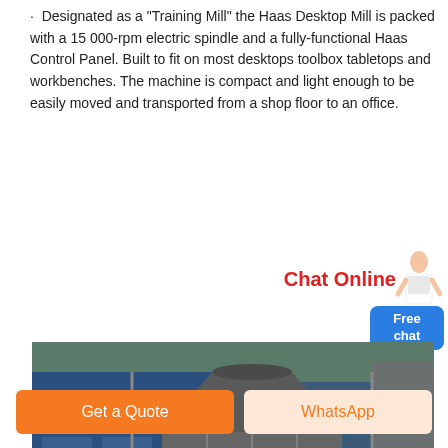· Designated as a "Training Mill" the Haas Desktop Mill is packed with a 15 000-rpm electric spindle and a fully-functional Haas Control Panel. Built to fit on most desktops toolbox tabletops and workbenches. The machine is compact and light enough to be easily moved and transported from a shop floor to an office.
[Figure (photo): Large industrial vertical mill/grinding machine in a factory setting. A tall cylindrical dark grey grinding body is mounted on red support arms, with blue industrial structures and scaffolding in the background.]
Get a Quote
WhatsApp